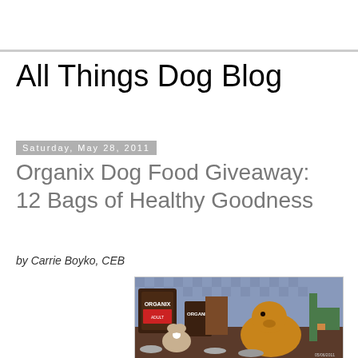All Things Dog Blog
Saturday, May 28, 2011
Organix Dog Food Giveaway: 12 Bags of Healthy Goodness
by Carrie Boyko, CEB
[Figure (photo): Two dogs (a small Papillon puppy and a large Golden Retriever) sitting near two bags of Organix dog food and metal food bowls on a tiled floor, with colorful chairs in the background.]